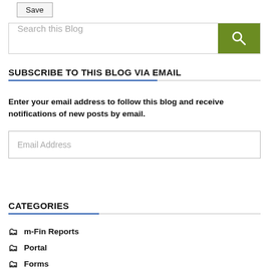[Figure (screenshot): Save button at top left]
[Figure (screenshot): Search this Blog input box with green search button]
SUBSCRIBE TO THIS BLOG VIA EMAIL
Enter your email address to follow this blog and receive notifications of new posts by email.
[Figure (screenshot): Email Address input field]
[Figure (screenshot): Subscribe button]
CATEGORIES
m-Fin Reports
Portal
Forms
CPE
Controllers' Meeting
Annual Report
Uncategorized